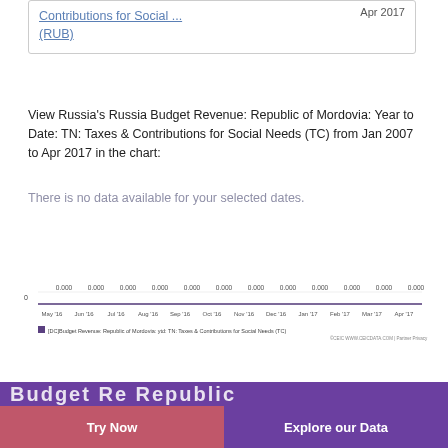Contributions for Social ... (RUB)
Apr 2017
View Russia's Russia Budget Revenue: Republic of Mordovia: Year to Date: TN: Taxes & Contributions for Social Needs (TC) from Jan 2007 to Apr 2017 in the chart:
There is no data available for your selected dates.
[Figure (line-chart): [DC]Budget Revenue: Republic of Mordovia: ytd: TN: Taxes & Contributions for Social Needs (TC)]
Try Now | Explore our Data